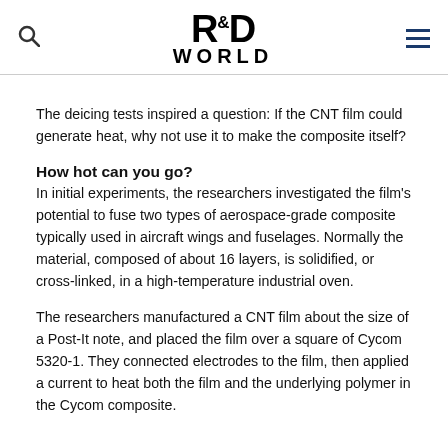R&D WORLD
The deicing tests inspired a question: If the CNT film could generate heat, why not use it to make the composite itself?
How hot can you go?
In initial experiments, the researchers investigated the film's potential to fuse two types of aerospace-grade composite typically used in aircraft wings and fuselages. Normally the material, composed of about 16 layers, is solidified, or cross-linked, in a high-temperature industrial oven.
The researchers manufactured a CNT film about the size of a Post-It note, and placed the film over a square of Cycom 5320-1. They connected electrodes to the film, then applied a current to heat both the film and the underlying polymer in the Cycom composite.